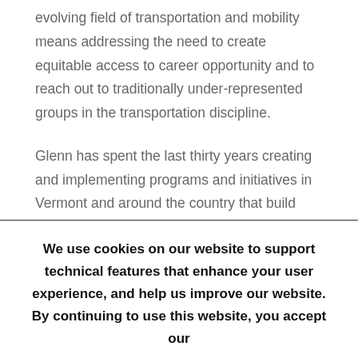evolving field of transportation and mobility means addressing the need to create equitable access to career opportunity and to reach out to traditionally under-represented groups in the transportation discipline.
Glenn has spent the last thirty years creating and implementing programs and initiatives in Vermont and around the country that build organizational capacity and empower citizens to more fully participate and engage in their community, their enterprises and their
We use cookies on our website to support technical features that enhance your user experience, and help us improve our website. By continuing to use this website, you accept our